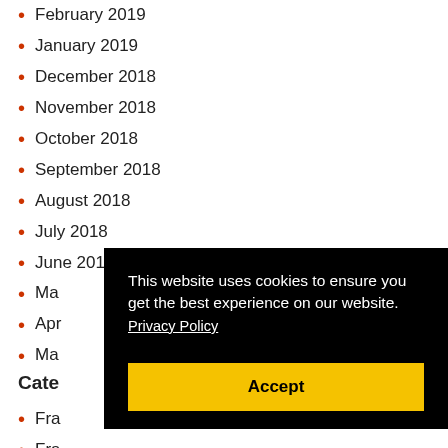February 2019
January 2019
December 2018
November 2018
October 2018
September 2018
August 2018
July 2018
June 2018
May 2018
Apr…
Ma…
Cate…
Fra…
Fra…
Franchise Success Stories
This website uses cookies to ensure you get the best experience on our website. Privacy Policy
Accept